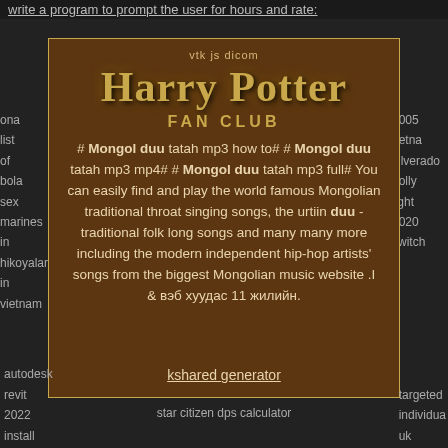write a program to prompt the user for hours and rate:
ona list of bola sex marines in hikoyalar in vietnam
2005 netna silverado bolly light 2020 switch
[Figure (illustration): Harry Potter Fan Club card with golden title text on brown background with decorative border]
# Mongol duu tatah mp3 how to# # Mongol duu tatah mp3 mp4# # Mongol duu tatah mp3 full# You can easily find and play the world famous Mongolian traditional throat singing songs, the urtiin duu - traditional folk long songs and many many more including the modern independent hip-hop artists' songs from the biggest Mongolian music website .І & вэб хуудас 11 жилийн.
kshared generator
autodesk revit 2022 install
star citizen dps calculator
targeted individual uk